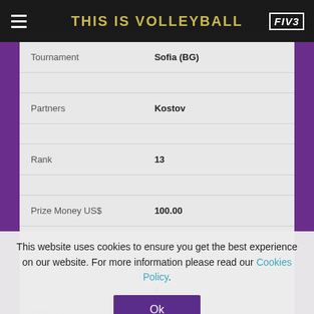THIS IS VOLLEYBALL
| Field | Value |
| --- | --- |
| Tournament | Sofia (BG) |
| Partners | Kostov |
| Rank | 13 |
| Prize Money US$ | 100.00 |
| Points | 90 |
4
This website uses cookies to ensure you get the best experience on our website. For more information please read our Cookies Policy.
Ok